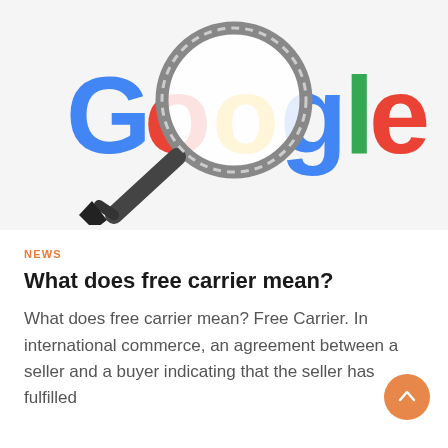[Figure (illustration): Google logo with a magnifying glass overlaid on top of it, suggesting a search or investigation concept. The Google logo is in its classic multicolor style (blue, red, yellow, green, red) and the magnifying glass handle points to the lower left.]
NEWS
What does free carrier mean?
What does free carrier mean? Free Carrier. In international commerce, an agreement between a seller and a buyer indicating that the seller has fulfilled